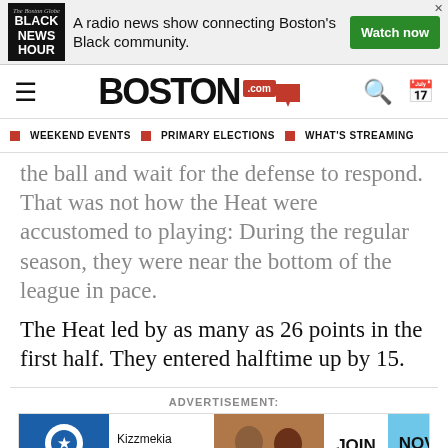[Figure (screenshot): Black News Hour advertisement banner: logo with 'BLACK NEWS HOUR', text 'A radio news show connecting Boston's Black community.', green 'Watch now' button]
[Figure (logo): Boston.com website navigation bar with hamburger menu, Boston.com logo, search and calendar icons]
WEEKEND EVENTS  ■  PRIMARY ELECTIONS  ■  WHAT'S STREAMING
the ball and wait for the defense to respond. That was not how the Heat were accustomed to playing: During the regular season, they were near the bottom of the league in pace.
The Heat led by as many as 26 points in the first half. They entered halftime up by 15.
ADVERTISEMENT:
[Figure (screenshot): Massachusetts Conference for Women advertisement featuring Kizzmekia Corbett and Viola Davis, 'JOIN US! NOV 30 IN-PERSON BOSTON']